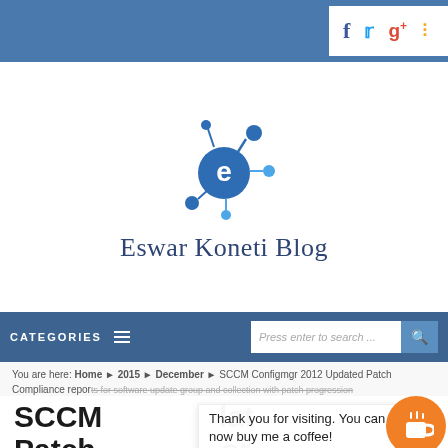Top navigation bar with social icons: Facebook, Twitter, Google+, RSS
[Figure (logo): Eswar Koneti Blog logo — stylized letter 'e' with network nodes in blue, above text 'Eswar Koneti Blog']
CATEGORIES ☰   [Search bar: Press enter to search ...]
You are here: Home ▶ 2015 ▶ December ▶ SCCM Configmgr 2012 Updated Patch Compliance reports for software update group and collection with patch progression
SCCM ... Updated Patch ... or software update group and ...
Thank you for visiting. You can now buy me a coffee!